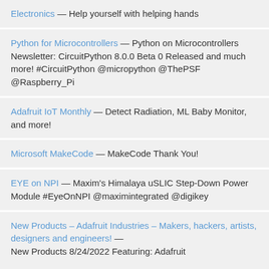Electronics — Help yourself with helping hands
Python for Microcontrollers — Python on Microcontrollers Newsletter: CircuitPython 8.0.0 Beta 0 Released and much more! #CircuitPython @micropython @ThePSF @Raspberry_Pi
Adafruit IoT Monthly — Detect Radiation, ML Baby Monitor, and more!
Microsoft MakeCode — MakeCode Thank You!
EYE on NPI — Maxim's Himalaya uSLIC Step-Down Power Module #EyeOnNPI @maximintegrated @digikey
New Products – Adafruit Industries – Makers, hackers, artists, designers and engineers! — New Products 8/24/2022 Featuring: Adafruit